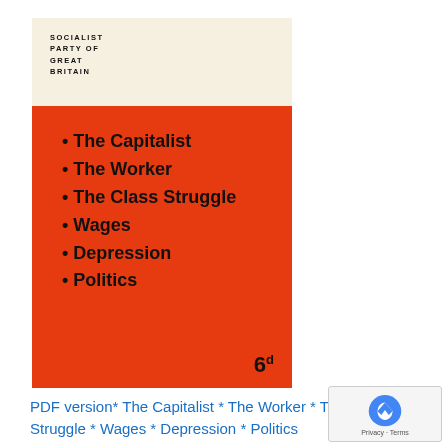[Figure (photo): Book cover of Socialist Party of Great Britain pamphlet. Cream top section with publisher name, red main section listing: The Capitalist, The Worker, The Class Struggle, Wages, Depression, Politics. Price 6d shown at bottom right.]
PDF version* The Capitalist * The Worker * The Class Struggle * Wages * Depression * Politics
Preface
Wage and salary earners have endless problems to worry